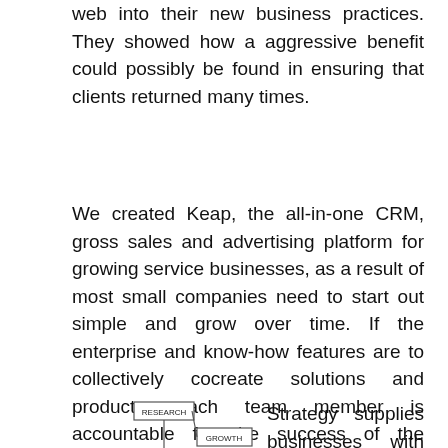web into their new business practices. They showed how a aggressive benefit could possibly be found in ensuring that clients returned many times.
We created Keap, the all-in-one CRM, gross sales and advertising platform for growing service businesses, as a result of most small companies need to start out simple and grow over time. If the enterprise and know-how features are to collectively cocreate solutions and products, each team member is accountable for the success of the product.
[Figure (flowchart): A strategy flowchart diagram showing interconnected boxes: RESEARCH at top, with arrows to GROWTH and STRATEGY (circled in red), connected to INNOVATION, VISION, TEAMWORK, and MARKETING. A hand pointing at the diagram is visible.]
Strategy supplies businesses with the course needed to undertake actions towards achieving organizational objectives. Strategic imperatives